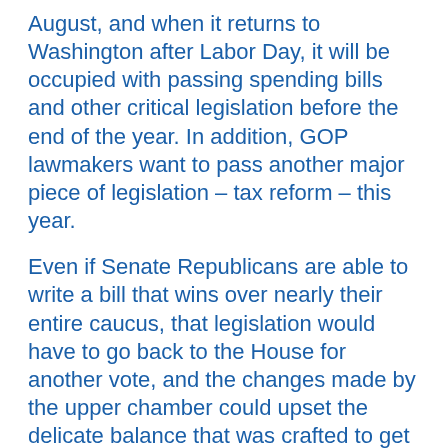August, and when it returns to Washington after Labor Day, it will be occupied with passing spending bills and other critical legislation before the end of the year. In addition, GOP lawmakers want to pass another major piece of legislation – tax reform – this year.
Even if Senate Republicans are able to write a bill that wins over nearly their entire caucus, that legislation would have to go back to the House for another vote, and the changes made by the upper chamber could upset the delicate balance that was crafted to get the bill through the House the first time.
Top of page